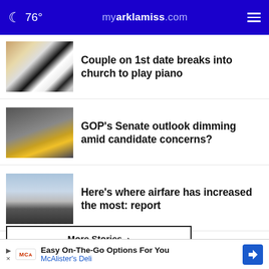76° myarklamiss.com
Couple on 1st date breaks into church to play piano
GOP's Senate outlook dimming amid candidate concerns?
Here's where airfare has increased the most: report
More Stories ›
[Figure (screenshot): Dark overlay background area at bottom of page]
Easy On-The-Go Options For You McAlister's Deli